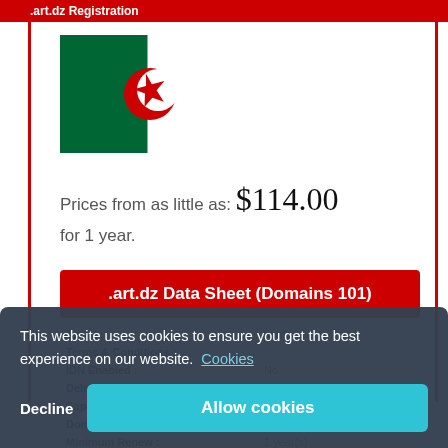.art.dz Registration
[Figure (illustration): Flag of Algeria — left half green, right half white, with a red crescent and red star in the center.]
Prices from as little as: $114.00 for 1 year.
.art.dz Data Sheet (Domains 101)
| Field | Value |
| --- | --- |
| Type : | art.dz |
| Terms & Conditions : |  |
| IDN Enabled : | No |
| Delete Protection : | No |
| Superlock : | No |
| Domain Recovery : | No |
| Minimum Renew : | 1 year(s) |
| Maximum Renew : | 1 year(s) |
This website uses cookies to ensure you get the best experience on our website.  Cookies
Decline
Allow cookies